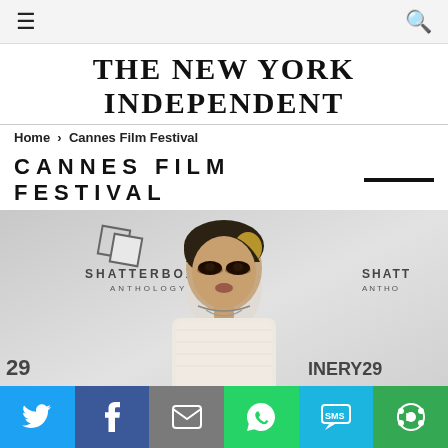≡  🔍
THE NEW YORK INDEPENDENT
Home > Cannes Film Festival
CANNES FILM FESTIVAL
[Figure (photo): A woman posing at a Shatterbox Anthology event backdrop, with dark dramatic eye makeup, short highlighted hair, and a white lace top with a chain necklace. Shatterbox Anthology and Refinery29 branding visible in the background.]
Share buttons: Twitter, Facebook, Email, WhatsApp, SMS, More